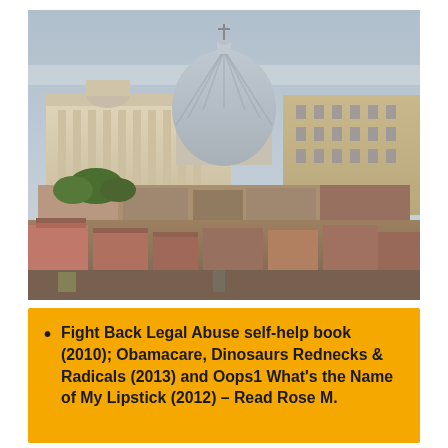[Figure (photo): Aerial or elevated view of St. Peter's Basilica at the Vatican in Rome, Italy, showing the large dome, the facade of the basilica, adjacent Vatican buildings, trees, and foreground buildings/rooftops.]
Fight Back Legal Abuse self-help book (2010); Obamacare, Dinosaurs Rednecks & Radicals (2013) and Oops1 What's the Name of My Lipstick (2012) – Read Rose M.